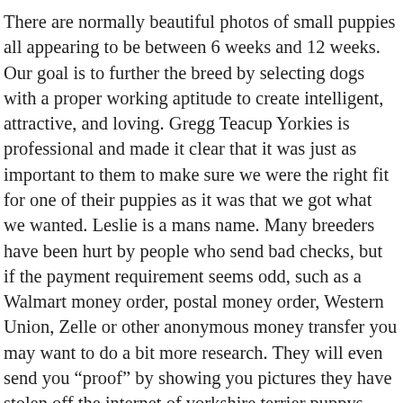There are normally beautiful photos of small puppies all appearing to be between 6 weeks and 12 weeks. Our goal is to further the breed by selecting dogs with a proper working aptitude to create intelligent, attractive, and loving. Gregg Teacup Yorkies is professional and made it clear that it was just as important to them to make sure we were the right fit for one of their puppies as it was that we got what we wanted. Leslie is a mans name. Many breeders have been hurt by people who send bad checks, but if the payment requirement seems odd, such as a Walmart money order, postal money order, Western Union, Zelle or other anonymous money transfer you may want to do a bit more research. They will even send you “proof” by showing you pictures they have stolen off the internet of yorkshire terrier puppys. Cheap Yorkies for sale. She loves running in the garden with our second dog Jerry. Not only did Gregg Teacup Yorkies spend hours digging themselves out, they made the drive over to us with our puppy, and helped to dig our car out and get us on our way, which was not easy. Each Yorkshire Terrier puppy is healthy, vibrant, playful. Scammers’ websites do not stay up for very long. I can assure you my puppy was never mistreated nor lived in unsanitary